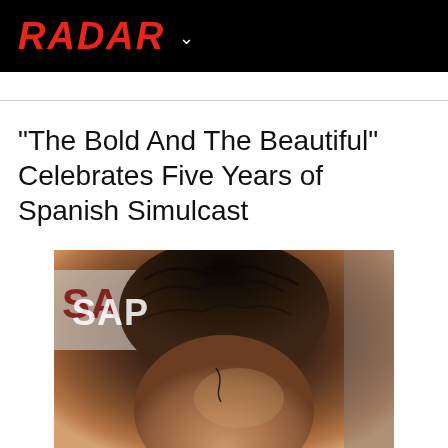RADAR
“The Bold And The Beautiful” Celebrates Five Years of Spanish Simulcast
[Figure (photo): Close-up photo of a man with dark wavy hair, cropped to show forehead and top of head. A sign with partial text 'SA' is visible in the background.]